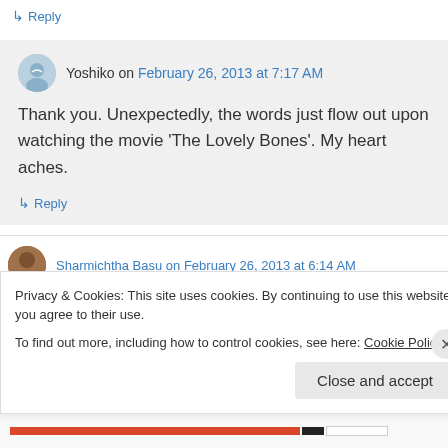↳ Reply
Yoshiko on February 26, 2013 at 7:17 AM
Thank you. Unexpectedly, the words just flow out upon watching the movie 'The Lovely Bones'. My heart aches.
↳ Reply
Sharmichtha Basu on February 26, 2013 at 6:14 AM
Privacy & Cookies: This site uses cookies. By continuing to use this website, you agree to their use.
To find out more, including how to control cookies, see here: Cookie Policy
Close and accept